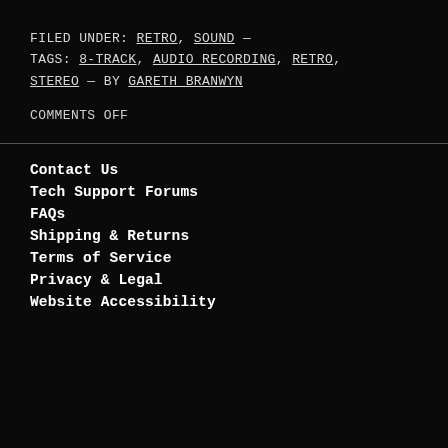FILED UNDER: RETRO, SOUND — TAGS: 8-TRACK, AUDIO RECORDING, RETRO, STEREO — BY GARETH BRANWYN
COMMENTS OFF
Contact Us
Tech Support Forums
FAQs
Shipping & Returns
Terms of Service
Privacy & Legal
Website Accessibility